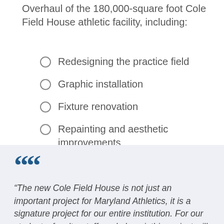Overhaul of the 180,000-square foot Cole Field House athletic facility, including:
Redesigning the practice field
Graphic installation
Fixture renovation
Repainting and aesthetic improvements
“The new Cole Field House is not just an important project for Maryland Athletics, it is a signature project for our entire institution. For our students, faculty, staff, and alumni, this project will be a point of pride, and a reminder